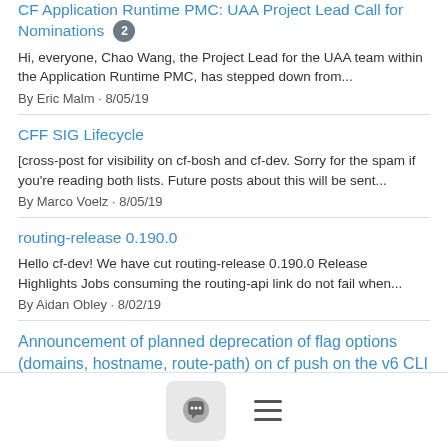CF Application Runtime PMC: UAA Project Lead Call for Nominations 2
Hi, everyone, Chao Wang, the Project Lead for the UAA team within the Application Runtime PMC, has stepped down from...
By Eric Malm · 8/05/19
CFF SIG Lifecycle
[cross-post for visibility on cf-bosh and cf-dev. Sorry for the spam if you're reading both lists. Future posts about this will be sent...
By Marco Voelz · 8/05/19
routing-release 0.190.0
Hello cf-dev! We have cut routing-release 0.190.0 Release Highlights Jobs consuming the routing-api link do not fail when...
By Aidan Obley · 8/02/19
Announcement of planned deprecation of flag options (domains, hostname, route-path) on cf push on the v6 CLI